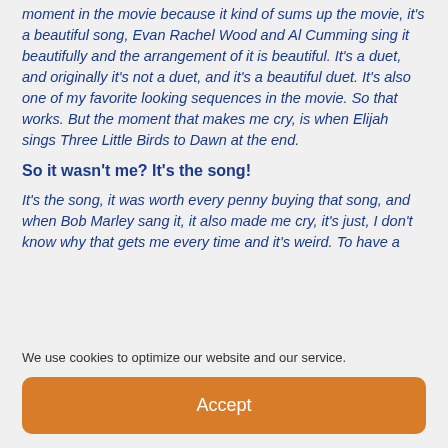moment in the movie because it kind of sums up the movie, it's a beautiful song, Evan Rachel Wood and Al Cumming sing it beautifully and the arrangement of it is beautiful. It's a duet, and originally it's not a duet, and it's a beautiful duet. It's also one of my favorite looking sequences in the movie. So that works. But the moment that makes me cry, is when Elijah sings Three Little Birds to Dawn at the end.
So it wasn't me? It's the song!
It's the song, it was worth every penny buying that song, and when Bob Marley sang it, it also made me cry, it's just, I don't know why that gets me every time and it's weird. To have a
We use cookies to optimize our website and our service.